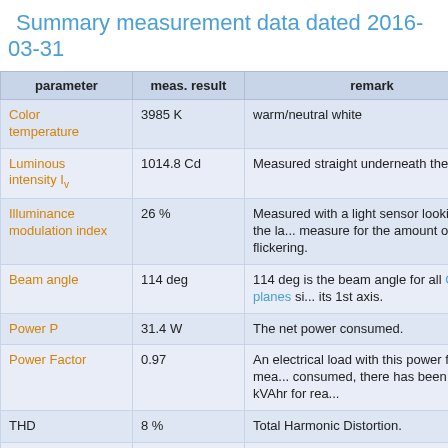Summary measurement data dated 2016-03-31
| parameter | meas. result | remark |
| --- | --- | --- |
| Color temperature | 3985 K | warm/neutral white |
| Luminous intensity Iv | 1014.8 Cd | Measured straight underneath the lamp. |
| Illuminance modulation index | 26 % | Measured with a light sensor looking at the la... measure for the amount of flickering. |
| Beam angle | 114 deg | 114 deg is the beam angle for all C-planes si... its 1st axis. |
| Power P | 31.4 W | The net power consumed. |
| Power Factor | 0.97 | An electrical load with this power factor mea... consumed, there has been 0.24 kVAhr for re... |
| THD | 8 % | Total Harmonic Distortion. |
| Max inrush current | 4.334 A | This current has been found at a voltage sta... |
| Luminous flux | 2944 lm | Measured with photogoniometer, calculation... |